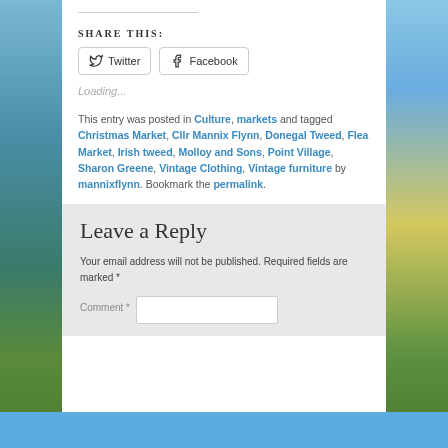SHARE THIS:
Twitter  Facebook
Loading...
This entry was posted in Culture, markets and tagged Christmas Market, Cllr Mannix Flynn, Donegal Tweed, Flea Market, Irish tweed, Molloy and Sons, Point Village, Sharon Greene, Vintage Clothing, Vintage furniture by mannixflynn. Bookmark the permalink.
Leave a Reply
Your email address will not be published. Required fields are marked *
Comment *